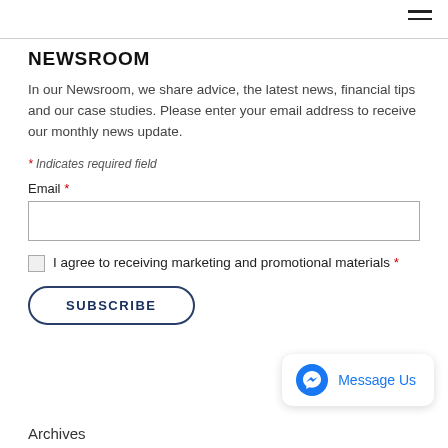NEWSROOM
In our Newsroom, we share advice, the latest news, financial tips and our case studies. Please enter your email address to receive our monthly news update.
* Indicates required field
Email *
I agree to receiving marketing and promotional materials *
SUBSCRIBE
[Figure (other): Facebook Messenger widget with blue messenger icon and 'Message Us' text]
Archives